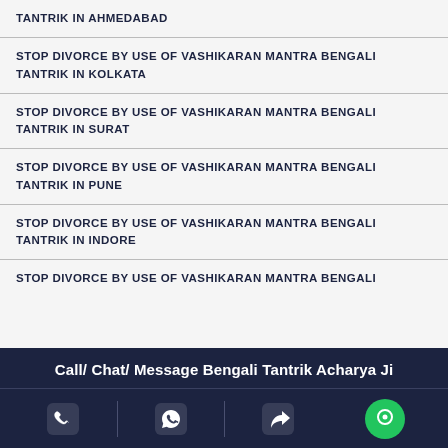TANTRIK IN AHMEDABAD
STOP DIVORCE BY USE OF VASHIKARAN MANTRA BENGALI TANTRIK IN KOLKATA
STOP DIVORCE BY USE OF VASHIKARAN MANTRA BENGALI TANTRIK IN SURAT
STOP DIVORCE BY USE OF VASHIKARAN MANTRA BENGALI TANTRIK IN PUNE
STOP DIVORCE BY USE OF VASHIKARAN MANTRA BENGALI TANTRIK IN INDORE
STOP DIVORCE BY USE OF VASHIKARAN MANTRA BENGALI
Call/ Chat/ Message Bengali Tantrik Acharya Ji